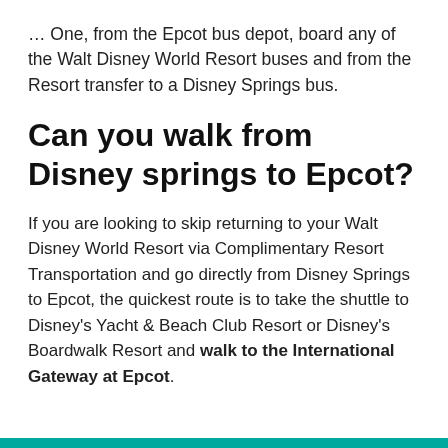… One, from the Epcot bus depot, board any of the Walt Disney World Resort buses and from the Resort transfer to a Disney Springs bus.
Can you walk from Disney springs to Epcot?
If you are looking to skip returning to your Walt Disney World Resort via Complimentary Resort Transportation and go directly from Disney Springs to Epcot, the quickest route is to take the shuttle to Disney's Yacht & Beach Club Resort or Disney's Boardwalk Resort and walk to the International Gateway at Epcot.